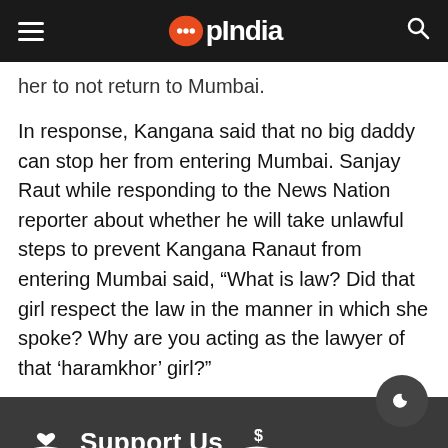OpIndia
her to not return to Mumbai.
In response, Kangana said that no big daddy can stop her from entering Mumbai. Sanjay Raut while responding to the News Nation reporter about whether he will take unlawful steps to prevent Kangana Ranaut from entering Mumbai said, “What is law? Did that girl respect the law in the manner in which she spoke? Why are you acting as the lawyer of that ‘haramkhor’ girl?”
Support Us